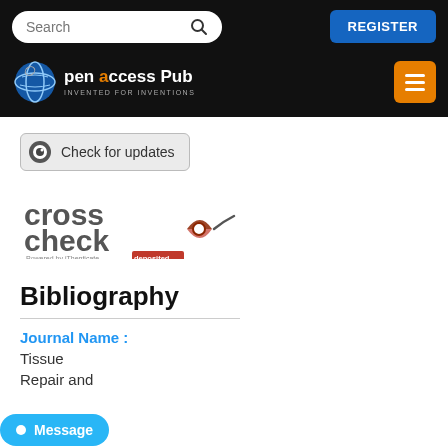Open Access Pub — INVENTED FOR INVENTIONS
[Figure (logo): CrossCheck logo — 'cross check' text in dark grey with red/brown biohazard-like symbol, 'Powered by iThenticate deposited' text below]
Bibliography
Journal Name :
Tissue Repair and